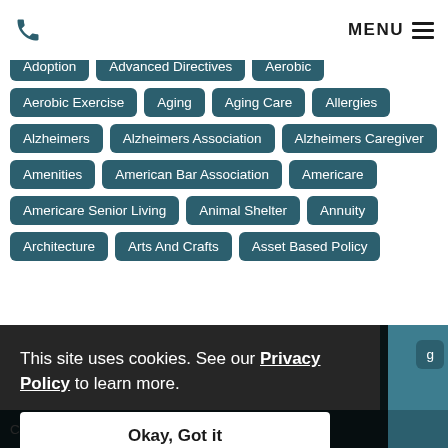MENU
Adoption
Advanced Directives
Aerobic
Aerobic Exercise
Aging
Aging Care
Allergies
Alzheimers
Alzheimers Association
Alzheimers Caregiver
Amenities
American Bar Association
Americare
Americare Senior Living
Animal Shelter
Annuity
Architecture
Arts And Crafts
Asset Based Policy
This site uses cookies. See our Privacy Policy to learn more.
Okay, Got it
Caring Connections
Cats